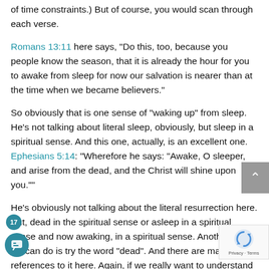of time constraints.) But of course, you would scan through each verse.
Romans 13:11 here says, "Do this, too, because you people know the season, that it is already the hour for you to awake from sleep for now our salvation is nearer than at the time when we became believers."
So obviously that is one sense of "waking up" from sleep. He’s not talking about literal sleep, obviously, but sleep in a spiritual sense. And this one, actually, is an excellent one. Ephesians 5:14: “Wherefore he says: “Awake, O sleeper, and arise from the dead, and the Christ will shine upon you.””
He’s obviously not talking about the literal resurrection here. But, dead in the spiritual sense or asleep in a spiritual sense and now awaking, in a spiritual sense. Another thing we can do is try the word “dead”. And there are many references to it here. Again, if we really want to understand the Bible, we have to take the time to look. And immediately we come upon this one in Matthew